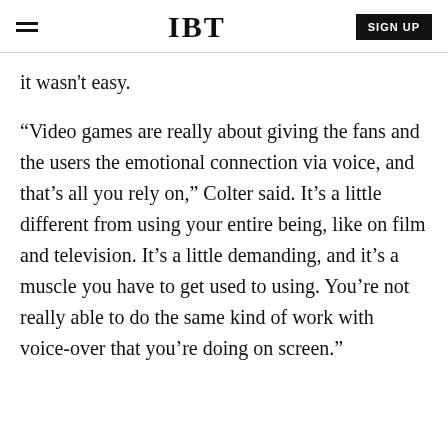IBT | SIGN UP
it wasn't easy.
“Video games are really about giving the fans and the users the emotional connection via voice, and that’s all you rely on,” Colter said. It’s a little different from using your entire being, like on film and television. It’s a little demanding, and it’s a muscle you have to get used to using. You’re not really able to do the same kind of work with voice-over that you’re doing on screen.”